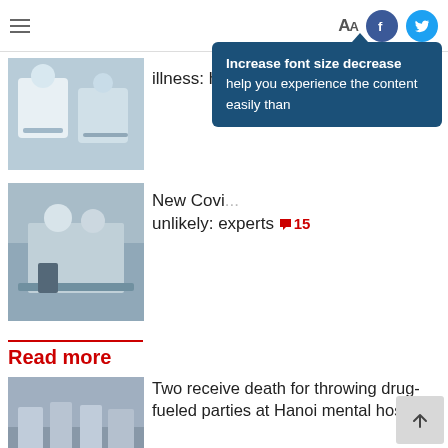Aa | Facebook | Twitter
[Figure (screenshot): Tooltip popup with dark blue background reading: Increase font size decrease help you experience the content easily than]
[Figure (photo): Medical scene: doctor and patient with masks]
illness: he...
[Figure (photo): Hospital ICU scene with patient and medical staff]
New Covi... unlikely: experts 15
Read more
[Figure (photo): Courtroom scene with defendants in masks]
Two receive death for throwing drug-fueled parties at Hanoi mental hospital
[Figure (photo): Store/shop scene with woman in striped outfit]
Vietnam grants amnesty to 2,400 prisoners on National Day holiday